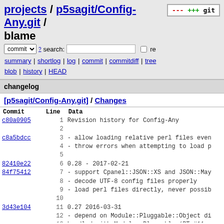projects / p5sagit/Config-Any.git / blame
commit ▼ ? search: □ re
summary | shortlog | log | commit | commitdiff | tree blob | history | HEAD
changelog
[p5sagit/Config-Any.git] / Changes
| Commit | Line | Data |
| --- | --- | --- |
| c80a0905 | 1 | Revision history for Config-Any |
|  | 2 |  |
| c8a5bdcc | 3 |     - allow loading relative perl files even |
|  | 4 |     - throw errors when attempting to load p |
|  | 5 |  |
| 82410e22 | 6 | 0.28 - 2017-02-21 |
| 84f75412 | 7 |     - support Cpanel::JSON::XS and JSON::May |
|  | 8 |     - decode UTF-8 config files properly |
|  | 9 |     - load perl files directly, never possib |
|  | 10 |  |
| 3d43e104 | 11 | 0.27 2016-03-31 |
|  | 12 |     - depend on Module::Pluggable::Object di |
|  | 13 |       bundled with Module::Pluggable (RT #11 |
|  | 14 |  |
| 42df3732 | 15 | 0.26 2015-04-29 |
|  | 16 |     - fix error reporting from code applied |
|  | 17 |  |
| f0f2d692 | 18 | 0.25 2015-04-22 |